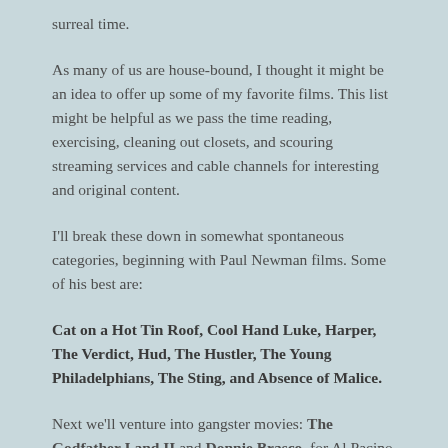surreal time.
As many of us are house-bound, I thought it might be an idea to offer up some of my favorite films. This list might be helpful as we pass the time reading, exercising, cleaning out closets, and scouring streaming services and cable channels for interesting and original content.
I'll break these down in somewhat spontaneous categories, beginning with Paul Newman films. Some of his best are:
Cat on a Hot Tin Roof, Cool Hand Luke, Harper, The Verdict, Hud, The Hustler, The Young Philadelphians, The Sting, and Absence of Malice.
Next we'll venture into gangster movies: The Godfather I and II and Donnie Brasco, for Al Pacino fans. Scent of a Woman is a